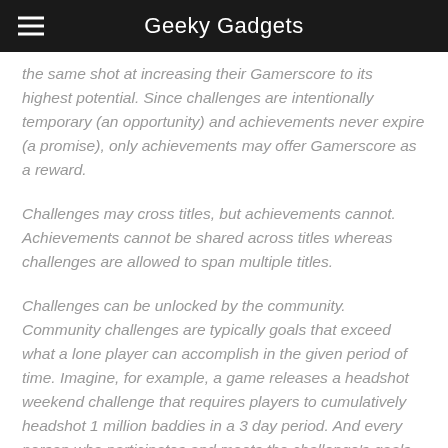Geeky Gadgets
the same shot at increasing their Gamerscore to its highest potential. Since challenges are intentionally temporary (an opportunity) and achievements never expire (a promise), only achievements may offer Gamerscore as a reward.
Challenges may cross titles, but achievements cannot. Achievements cannot be shared across titles whereas challenges are allowed to span multiple titles.
Challenges can be unlocked by the community. Community challenges are typically goals that exceed what a lone player can accomplish in the given period of time. Imagine, for example, a game releases a headshot weekend challenge that requires players to cumulatively headshot 1 million baddies in a 3 day period. And every person who participates and meets the challenge's goals gets the unlock on his or her achievement history and reaps its reward."
For a follow along, all the way Xbox Gamerscore as a reward...